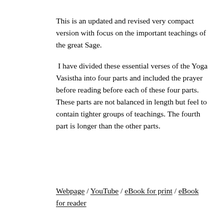This is an updated and revised very compact version with focus on the important teachings of the great Sage.
I have divided these essential verses of the Yoga Vasistha into four parts and included the prayer before reading before each of these four parts. These parts are not balanced in length but feel to contain tighter groups of teachings. The fourth part is longer than the other parts.
Webpage / YouTube / eBook for print / eBook for reader